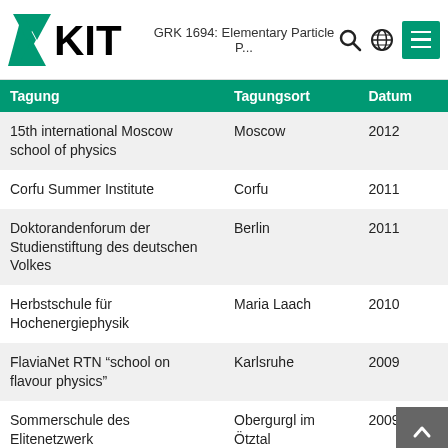KIT — GRK 1694: Elementary Particle P...
| Tagung | Tagungsort | Datum |
| --- | --- | --- |
| 15th international Moscow school of physics | Moscow | 2012 |
| Corfu Summer Institute | Corfu | 2011 |
| Doktorandenforum der Studienstiftung des deutschen Volkes | Berlin | 2011 |
| Herbstschule für Hochenergiephysik | Maria Laach | 2010 |
| FlaviaNet RTN "school on flavour physics" | Karlsruhe | 2009 |
| Sommerschule des Elitenetzwerk | Obergurgl im Ötztal | 2009 |